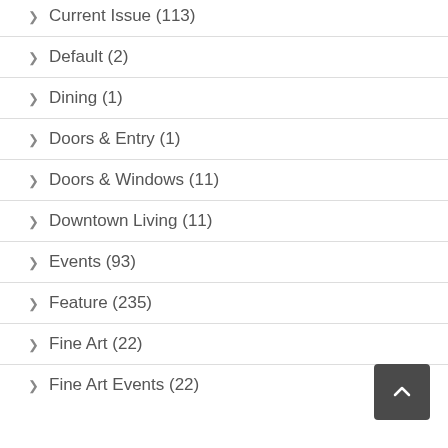> Current Issue (113)
> Default (2)
> Dining (1)
> Doors & Entry (1)
> Doors & Windows (11)
> Downtown Living (11)
> Events (93)
> Feature (235)
> Fine Art (22)
> Fine Art Events (22)